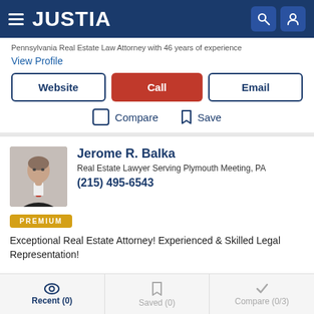JUSTIA
Pennsylvania Real Estate Law Attorney with 46 years of experience
View Profile
Website | Call | Email
Compare   Save
Jerome R. Balka
Real Estate Lawyer Serving Plymouth Meeting, PA
(215) 495-6543
[Figure (photo): Headshot photo of Jerome R. Balka, older man in dark suit with red tie]
PREMIUM
Exceptional Real Estate Attorney! Experienced & Skilled Legal Representation!
Recent (0)   Saved (0)   Compare (0/3)